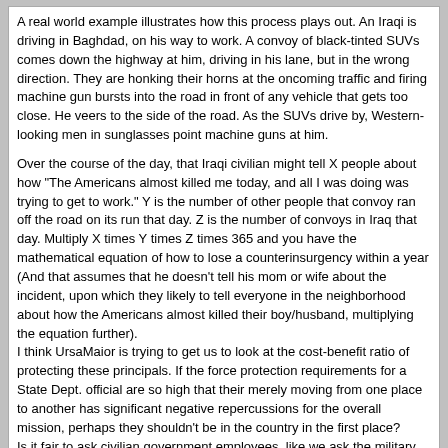A real world example illustrates how this process plays out. An Iraqi is driving in Baghdad, on his way to work. A convoy of black-tinted SUVs comes down the highway at him, driving in his lane, but in the wrong direction. They are honking their horns at the oncoming traffic and firing machine gun bursts into the road in front of any vehicle that gets too close. He veers to the side of the road. As the SUVs drive by, Western-looking men in sunglasses point machine guns at him.

Over the course of the day, that Iraqi civilian might tell X people about how "The Americans almost killed me today, and all I was doing was trying to get to work." Y is the number of other people that convoy ran off the road on its run that day. Z is the number of convoys in Iraq that day. Multiply X times Y times Z times 365 and you have the mathematical equation of how to lose a counterinsurgency within a year (And that assumes that he doesn't tell his mom or wife about the incident, upon which they likely to tell everyone in the neighborhood about how the Americans almost killed their boy/husband, multiplying the equation further).
I think UrsaMaior is trying to get us to look at the cost-benefit ratio of protecting these principals. If the force protection requirements for a State Dept. official are so high that their merely moving from one place to another has significant negative repercussions for the overall mission, perhaps they shouldn't be in the country in the first place?
Is it fair to ask civilian government employees, like we ask the military, to assume more risk for the sake of helping the counterinsurgency effort?

The full report can be read here:
http://www3.brookings.edu/fp/research/singer200709.pdf
Stan	09-28-2007, 03:12 PM
Hey Jesse !
I'd go back to this recent post first (http://council.smallwarsjournal.com/newreply.php?do=newreply&p=26828), which should clear most of the controversy up.

The principal is probably not at all interested in being there, but should still be protecting in order to perform his/her job.